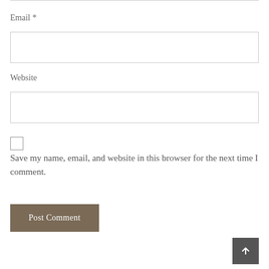Email *
[Figure (other): Empty text input field for Email]
Website
[Figure (other): Empty text input field for Website]
Save my name, email, and website in this browser for the next time I comment.
[Figure (other): Post Comment button with dark brown background]
[Figure (other): Scroll to top button with arrow icon]